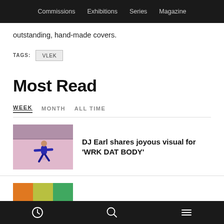Commissions   Exhibitions   Series   Magazine
outstanding, hand-made covers.
TAGS:  VLEK
Most Read
WEEK   MONTH   ALL TIME
DJ Earl shares joyous visual for 'WRK DAT BODY'
[Figure (photo): Person skating on a pink rink]
[Figure (photo): Partially visible colored thumbnail (orange, green, teal gradient)]